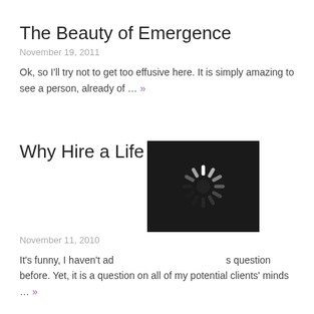The Beauty of Emergence
November 19, 2011
Ok, so I'll try not to get too effusive here. It is simply amazing to see a person, already of … »
Why Hire a Life C[loading image]
November 11, 2010
[Figure (screenshot): Loading spinner image overlaid on title text]
It's funny, I haven't ad[loading image]s question before. Yet, it is a question on all of my potential clients' minds … »
Coaching Chronicles Newsletter
September 29, 2010